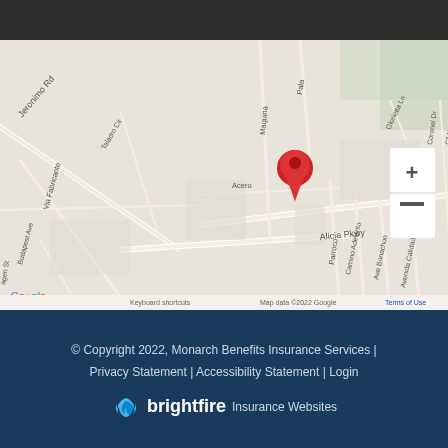[Figure (map): Google Maps showing location near Alicia Pkwy with streets Jeronimo Rd, Via Fabricante, Taladro Cir, Maquina, Acero, Pala, Glorietta Ln, Coronel Dr, Cll Hogar, Cll Ganador, San Esteban Dr, Via San Gil, Parroco, Camino Adelanto, Ave Bonachon, Avenida Calidad, Budapest Ave, agen St, Los Viveros, Via Logrono. Red location pin marker visible. Zoom in/out controls visible. Google logo in bottom left.]
© Copyright 2022, Monarch Benefits Insurance Services | Privacy Statement | Accessibility Statement | Login
[Figure (logo): BrightFire Insurance Websites logo]